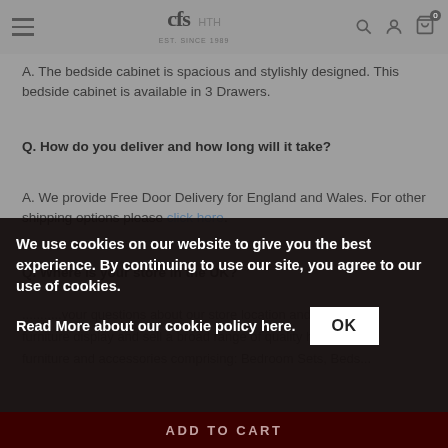cfs HTH EST. SINCE 1989 [navigation bar with search, account, and cart icons]
A. The bedside cabinet is spacious and stylishly designed. This bedside cabinet is available in 3 Drawers.
Q. How do you deliver and how long will it take?
A. We provide Free Door Delivery for England and Wales. For other shipping options please click here.
Q. Where is your store in the UK?
We use cookies on our website to give you the best experience. By continuing to use our site, you agree to our use of cookies.
Read More about our cookie policy here.
ADD TO CART